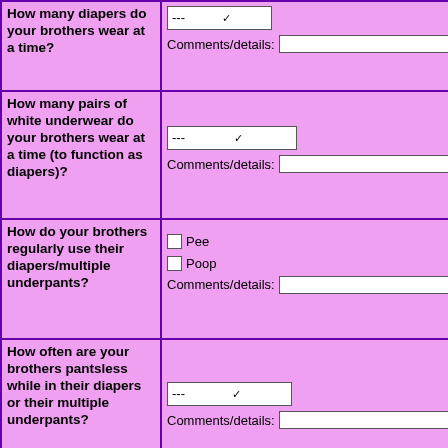| How many diapers do your brothers wear at a time? | --- [dropdown]
Comments/details: [text box] |
| How many pairs of white underwear do your brothers wear at a time (to function as diapers)? | --- [dropdown]
Comments/details: [text box] |
| How do your brothers regularly use their diapers/multiple underpants? | [] Pee
[] Poop
Comments/details: [text box] |
| How often are your brothers pantsless while in their diapers or their multiple underpants? | --- [dropdown]
Comments/details: [text box] |
| How many older brothers do you have? | O None  O One  O Two  O Three  O More t
Comments/details: [text box] |
| H... | O  O  O  ... |